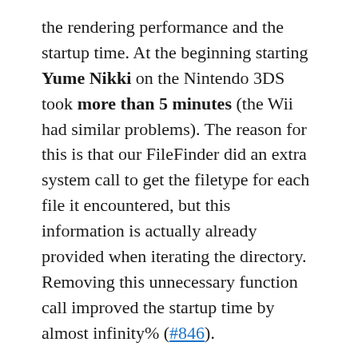the rendering performance and the startup time. At the beginning starting Yume Nikki on the Nintendo 3DS took more than 5 minutes (the Wii had similar problems). The reason for this is that our FileFinder did an extra system call to get the filetype for each file it encountered, but this information is actually already provided when iterating the directory. Removing this unnecessary function call improved the startup time by almost infinity% (#846).
The next problem we had to deal with on the old 3DS was that it only reached 25 FPS. Due to many small improvements in the rendering code (e.g. not rendering the background when